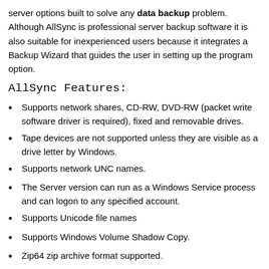server options built to solve any data backup problem. Although AllSync is professional server backup software it is also suitable for inexperienced users because it integrates a Backup Wizard that guides the user in setting up the program option.
AllSync Features:
Supports network shares, CD-RW, DVD-RW (packet write software driver is required), fixed and removable drives.
Tape devices are not supported unless they are visible as a drive letter by Windows.
Supports network UNC names.
The Server version can run as a Windows Service process and can logon to any specified account.
Supports Unicode file names
Supports Windows Volume Shadow Copy.
Zip64 zip archive format supported.